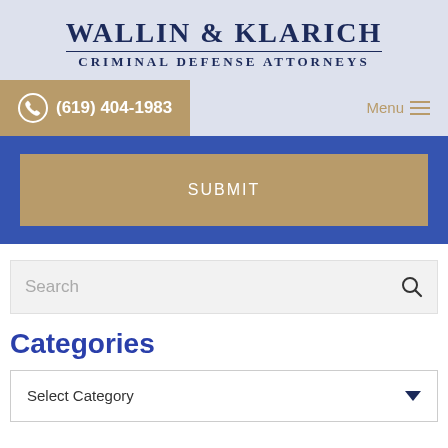WALLIN & KLARICH
CRIMINAL DEFENSE ATTORNEYS
(619) 404-1983
Menu
SUBMIT
Search
Categories
Select Category